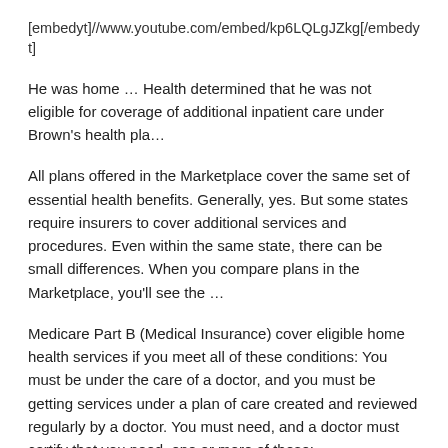[embedyt]//www.youtube.com/embed/kp6LQLgJZkg[/embedyt]
He was home … Health determined that he was not eligible for coverage of additional inpatient care under Brown's health pla…
All plans offered in the Marketplace cover the same set of essential health benefits. Generally, yes. But some states require insurers to cover additional services and procedures. Even within the same state, there can be small differences. When you compare plans in the Marketplace, you'll see the …
Medicare Part B (Medical Insurance) cover eligible home health services if you meet all of these conditions: You must be under the care of a doctor, and you must be getting services under a plan of care created and reviewed regularly by a doctor. You must need, and a doctor must certify that you need, one or more of these:
If a patient qualifies for Medicare coverage of home health care, Medicare pays the full amount of the home health care